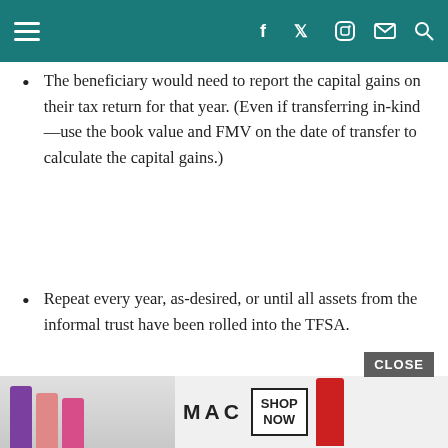[navigation bar with hamburger menu and social icons]
The beneficiary would need to report the capital gains on their tax return for that year. (Even if transferring in-kind—use the book value and FMV on the date of transfer to calculate the capital gains.)
Repeat every year, as-desired, or until all assets from the informal trust have been rolled into the TFSA.
Note
There may be a few extra steps when transferring to the child's account(s) one day. A reader by the name of Jo[...]